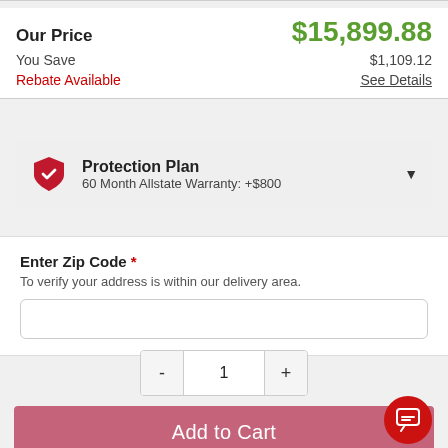Our Price  $15,899.88
You Save  $1,109.12
Rebate Available  See Details
Protection Plan
60 Month Allstate Warranty: +$800
Enter Zip Code *
To verify your address is within our delivery area.
1
Add to Cart